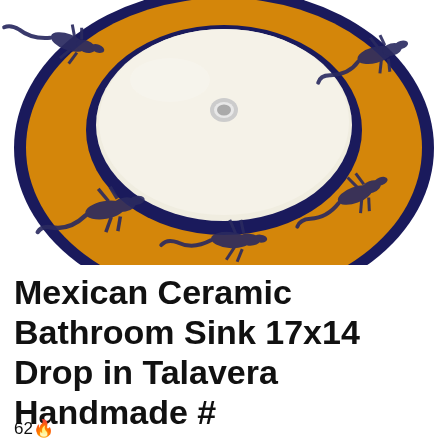[Figure (photo): Top-down view of a round Mexican Talavera ceramic bathroom sink with a yellow/amber background decorated with dark blue painted lizard/gecko motifs. The sink has a deep navy blue rim and a white glazed interior with a small circular drain hole in the center.]
Mexican Ceramic Bathroom Sink 17x14 Drop in Talavera Handmade #
62🔥